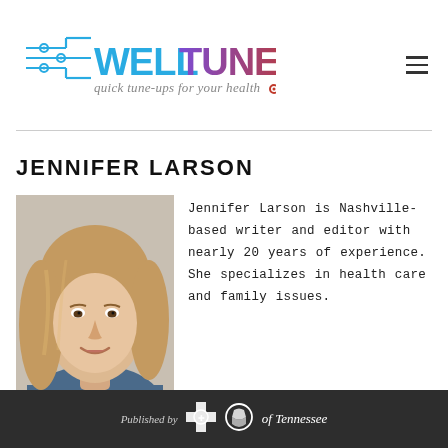[Figure (logo): WellTuned logo with circuit-board graphic and tagline 'quick tune-ups for your health']
JENNIFER LARSON
[Figure (photo): Professional headshot of Jennifer Larson, a woman with light brown/blonde hair, smiling, wearing a blue top]
Jennifer Larson is Nashville-based writer and editor with nearly 20 years of experience. She specializes in health care and family issues.
Published by BlueCross BlueShield of Tennessee